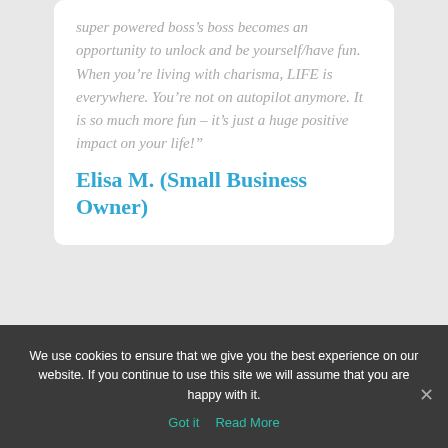super powered boss's boss becomes an opportunity to unlock and be yourself/have fun. When you're living with charisma, LIFE is everywhere. You're not on autopilot anymore. It is so much more fun – it's just a huge positive impact on your life!"
Elisa M. (Small Business Owner)
We use cookies to ensure that we give you the best experience on our website. If you continue to use this site we will assume that you are happy with it.
Got it   Read More